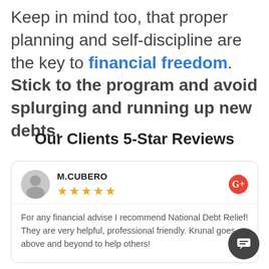Keep in mind too, that proper planning and self-discipline are the key to financial freedom. Stick to the program and avoid splurging and running up new debts.
Our Clients 5-Star Reviews
M.CUBERO ★★★★★ For any financial advise I recommend National Debt Relief! They are very helpful, professional friendly. Krunal goes above and beyond to help others!